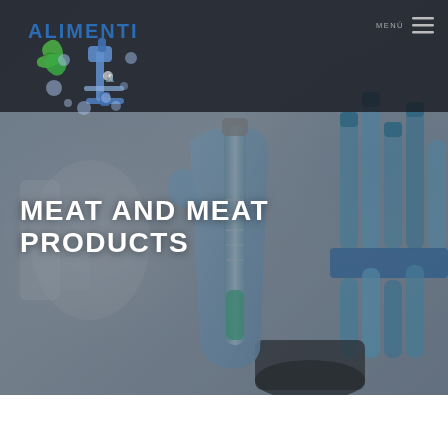[Figure (logo): Alimenti laboratory logo with microscope and leaf icon, blue color scheme]
MENU
[Figure (photo): Laboratory photo showing gloved hand holding a test tube/vial with other lab vials in background, blurred background, blue/grey tones]
MEAT AND MEAT PRODUCTS